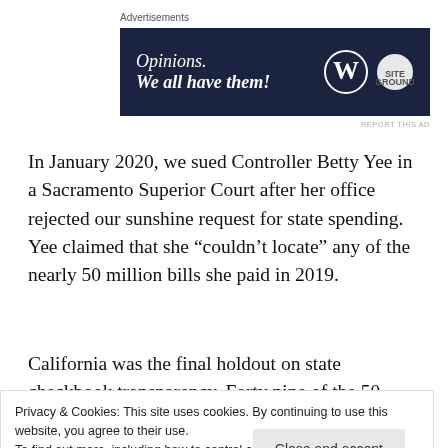Advertisements
[Figure (other): Advertisement banner with dark navy background showing text 'Opinions. We all have them!' with WordPress and SiteGround logos on the right side.]
In January 2020, we sued Controller Betty Yee in a Sacramento Superior Court after her office rejected our sunshine request for state spending. Yee claimed that she “couldn’t locate” any of the nearly 50 million bills she paid in 2019.
California was the final holdout on state checkbook transparency. Forty nine of the 50 states, the U.S.
Privacy & Cookies: This site uses cookies. By continuing to use this website, you agree to their use.
To find out more, including how to control cookies, see here: Cookie Policy